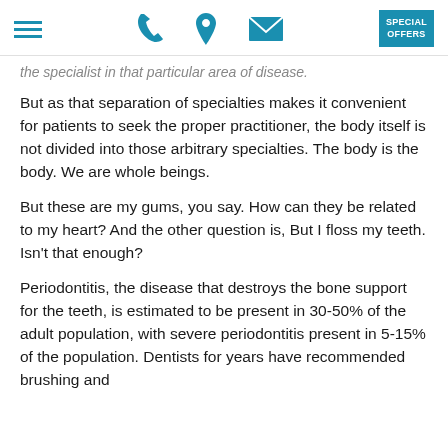Navigation header with hamburger menu, phone icon, location icon, mail icon, and SPECIAL OFFERS button
the specialist in that particular area of disease.
But as that separation of specialties makes it convenient for patients to seek the proper practitioner, the body itself is not divided into those arbitrary specialties. The body is the body. We are whole beings.
But these are my gums, you say. How can they be related to my heart? And the other question is, But I floss my teeth. Isn't that enough?
Periodontitis, the disease that destroys the bone support for the teeth, is estimated to be present in 30-50% of the adult population, with severe periodontitis present in 5-15% of the population. Dentists for years have recommended brushing and